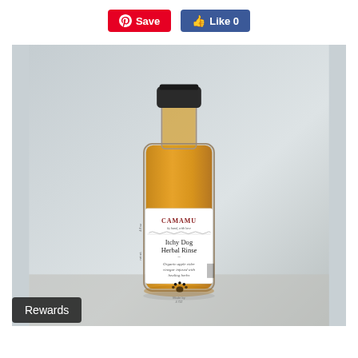[Figure (screenshot): Pinterest Save button (red) and Facebook Like button (blue) in top bar]
[Figure (photo): Product photo of CAMAMU Itchy Dog Herbal Rinse bottle — a small glass bottle with dark cap containing amber/golden liquid, label reads CAMAMU by hand with love, Itchy Dog Herbal Rinse, Organic apple cider vinegar infused with healing herbs, with paw print icon]
Rewards